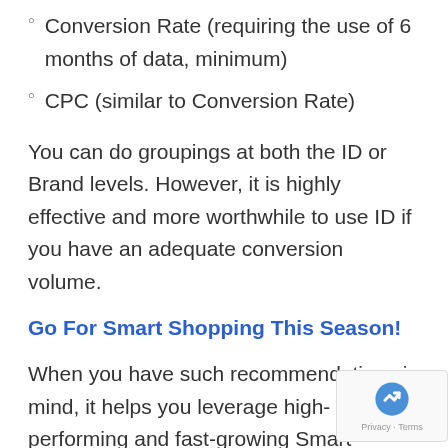Conversion Rate (requiring the use of 6 months of data, minimum)
CPC (similar to Conversion Rate)
You can do groupings at both the ID or Brand levels. However, it is highly effective and more worthwhile to use ID if you have an adequate conversion volume.
Go For Smart Shopping This Season!
When you have such recommendations in mind, it helps you leverage high-performing and fast-growing Smart Shopping solutions.